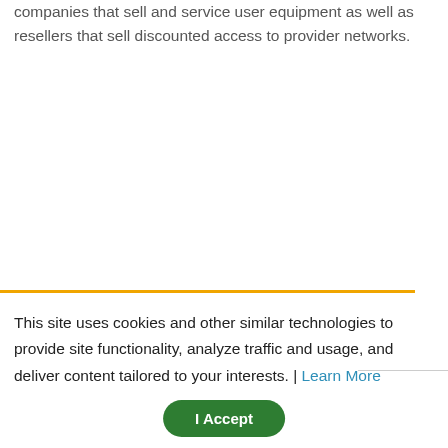companies that sell and service user equipment as well as resellers that sell discounted access to provider networks.
This site uses cookies and other similar technologies to provide site functionality, analyze traffic and usage, and deliver content tailored to your interests. | Learn More
I Accept